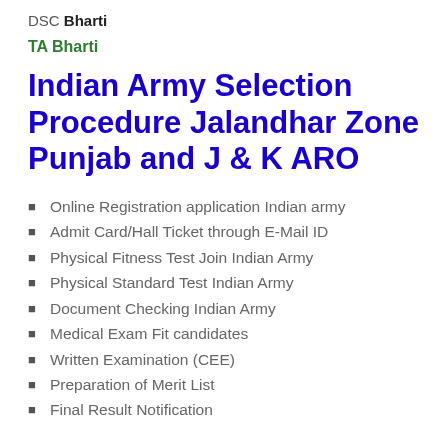DSC Bharti
TA Bharti
Indian Army Selection Procedure Jalandhar Zone Punjab and J & K ARO
Online Registration application Indian army
Admit Card/Hall Ticket through E-Mail ID
Physical Fitness Test Join Indian Army
Physical Standard Test Indian Army
Document Checking Indian Army
Medical Exam Fit candidates
Written Examination (CEE)
Preparation of Merit List
Final Result Notification